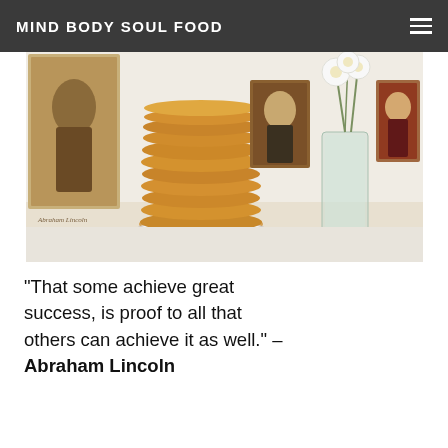MIND BODY SOUL FOOD
[Figure (photo): Photograph showing a stack of golden pancakes on a white plate, surrounded by historical portrait photographs of Abraham Lincoln (left), George Washington (center), and Benjamin Franklin (right), plus a glass jar vase with white daisy flowers.]
"That some achieve great success, is proof to all that others can achieve it as well." – Abraham Lincoln